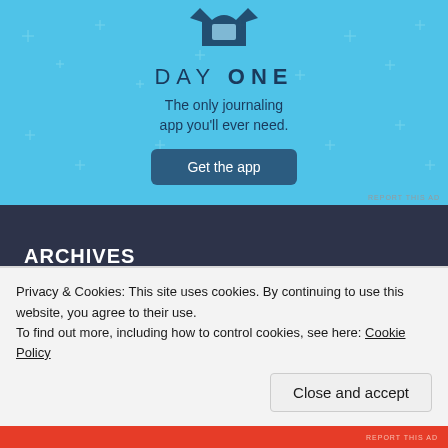[Figure (illustration): Advertisement banner for Day One journaling app on a light blue background with star decorations. Shows a shirt/app icon, the text 'DAY ONE', subtitle 'The only journaling app you'll ever need.', and a 'Get the app' button.]
REPORT THIS AD
ARCHIVES
October 2015
September 2015
Privacy & Cookies: This site uses cookies. By continuing to use this website, you agree to their use.
To find out more, including how to control cookies, see here: Cookie Policy
Close and accept